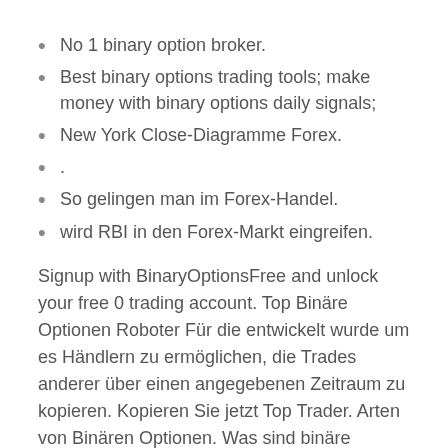No 1 binary option broker.
Best binary options trading tools; make money with binary options daily signals;
New York Close-Diagramme Forex.
.
So gelingen man im Forex-Handel.
wird RBI in den Forex-Markt eingreifen.
Signup with BinaryOptionsFree and unlock your free 0 trading account. Top Binäre Optionen Roboter Für die entwickelt wurde um es Händlern zu ermöglichen, die Trades anderer über einen angegebenen Zeitraum zu kopieren. Kopieren Sie jetzt Top Trader. Arten von Binären Optionen. Was sind binäre Optionen?